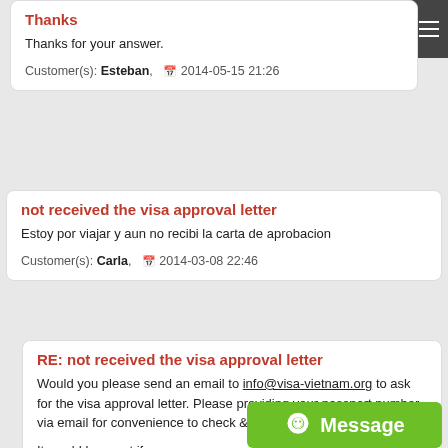Thanks
Thanks for your answer.
Customer(s): Esteban,  2014-05-15 21:26
not received the visa approval letter
Estoy por viajar y aun no recibi la carta de aprobacion
Customer(s): Carla,  2014-03-08 22:46
RE: not received the visa approval letter
Would you please send an email to info@visa-vietnam.org to ask for the visa approval letter. Please providing your passport number via email for convenience to check & send you the letter.

It would be great if you can use your yahoo mail or Gmail to get the letter because sometime your company email oever quota and unable to receive the visa letter

P/s : Would you please check your spam box for this case.

Regards
Thang